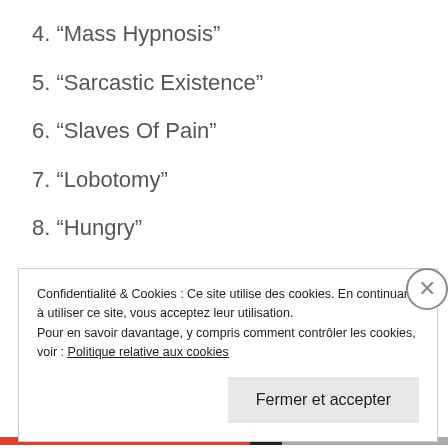4. “Mass Hypnosis”
5. “Sarcastic Existence”
6. “Slaves Of Pain”
7. “Lobotomy”
8. “Hungry”
9. “Primitive Future”
Confidentialité & Cookies : Ce site utilise des cookies. En continuant à utiliser ce site, vous acceptez leur utilisation.
Pour en savoir davantage, y compris comment contrôler les cookies, voir : Politique relative aux cookies
Fermer et accepter